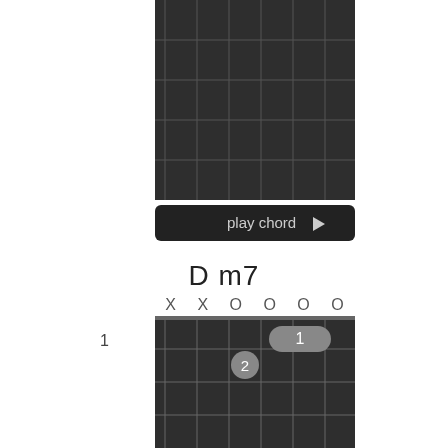[Figure (other): Guitar fretboard diagram showing top portion (previous chord, no markers visible), with a 'play chord' button below it]
D m7
[Figure (other): Guitar chord diagram for D m7. String indicators: X X O O O O. Fret 1 marker. Finger 1 on 5th string 1st fret (barre shown as pill shape), Finger 2 on 4th string 2nd fret.]